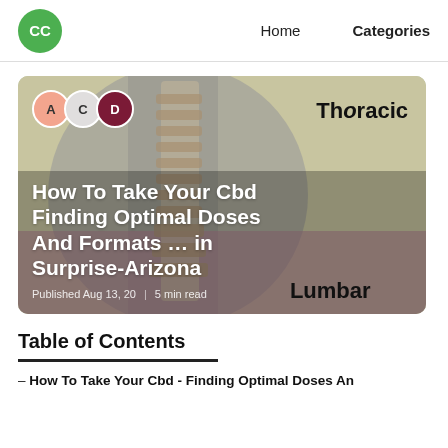CC  Home  Categories
[Figure (photo): Article card with spine anatomy image background (thoracic and lumbar vertebrae illustration) with avatars A, C, D overlaid. Article title: How To Take Your Cbd Finding Optimal Doses And Formats … in Surprise-Arizona. Published Aug 13, 20 | 5 min read.]
Table of Contents
– How To Take Your Cbd - Finding Optimal Doses An